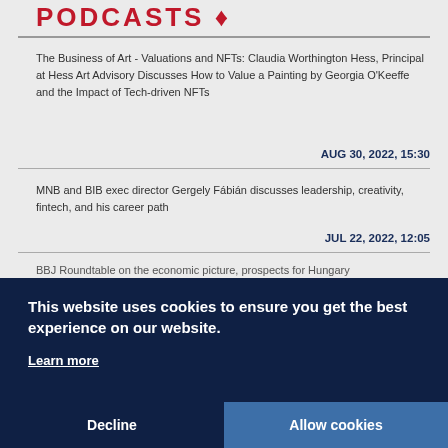PODCASTS
The Business of Art - Valuations and NFTs: Claudia Worthington Hess, Principal at Hess Art Advisory Discusses How to Value a Painting by Georgia O'Keeffe and the Impact of Tech-driven NFTs
AUG 30, 2022, 15:30
MNB and BIB exec director Gergely Fábián discusses leadership, creativity, fintech, and his career path
JUL 22, 2022, 12:05
BBJ Roundtable on the economic picture, prospects for Hungary
This website uses cookies to ensure you get the best experience on our website.
Learn more
Decline
Allow cookies